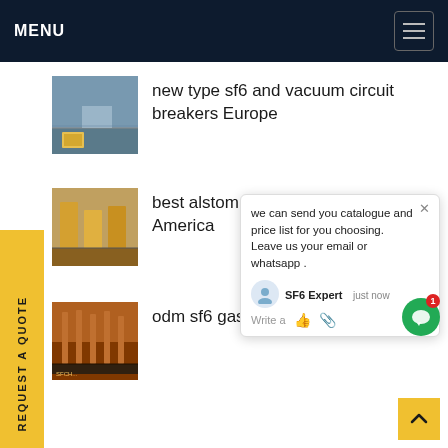MENU
new type sf6 and vacuum circuit breakers Europe
best alstom sf6 circuit breakers North America
odm sf6 gas suppliers R...
[Figure (screenshot): Chat popup overlay with message: 'we can send you catalogue and price list for you choosing. Leave us your email or whatsapp .' with SF6 Expert agent and input field]
REQUEST A QUOTE